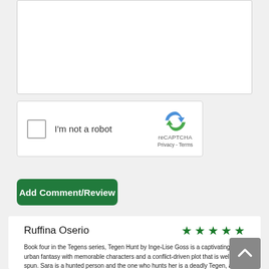[Figure (screenshot): Empty textarea input box with white background and light gray border]
[Figure (screenshot): reCAPTCHA widget with checkbox, 'I'm not a robot' label, reCAPTCHA logo, Privacy and Terms links]
[Figure (screenshot): Green 'Add Comment/Review' button]
Ruffina Oserio
★★★★★
Book four in the Tegens series, Tegen Hunt by Inge-Lise Goss is a captivating urban fantasy with memorable characters and a conflict-driven plot that is well spun. Sara is a hunted person and the one who hunts her is a deadly Tegen, a fugitive who has just escaped prison for a second-offense. But there is more to him than what many think and Sara knows the darkest secret of the Tegan. He is bent on destroying Sara and the truth with her. Now she puts herself into ever danger when she agrees to investigate the death of the grandson of one of her friends. She is smart and succeeds in staying a step ahead of her pursuer, but then she meets Conner, her lover, in